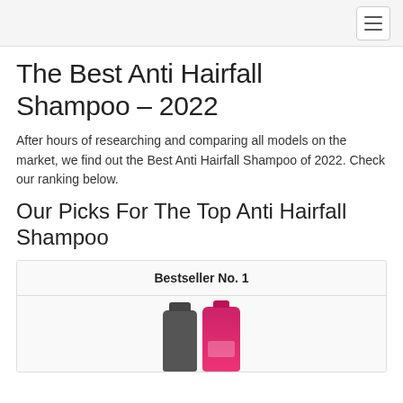The Best Anti Hairfall Shampoo – 2022
After hours of researching and comparing all models on the market, we find out the Best Anti Hairfall Shampoo of 2022. Check our ranking below.
Our Picks For The Top Anti Hairfall Shampoo
Bestseller No. 1
[Figure (photo): Two shampoo bottles side by side — one dark gray and one pink/magenta.]